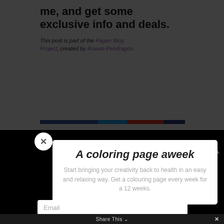me, and get some exclusive info and deals.
This post is part of the Pagan Blog Project, created by Rowan Pendragon.
A coloring page aweek
Start bringing your creativity back to health in an easy and relaxing way. Get a colouring page every week for a 12 weeks.
Email
Send me the first page
Share This ∨
✕